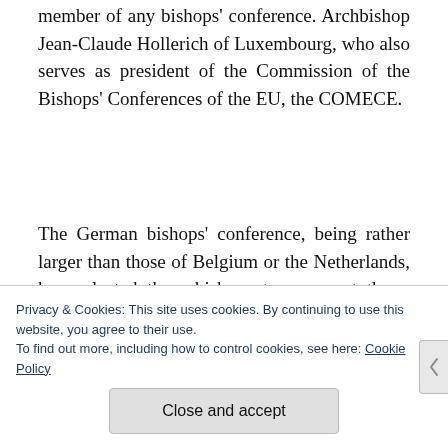member of any bishops' conference. Archbishop Jean-Claude Hollerich of Luxembourg, who also serves as president of the Commission of the Bishops' Conferences of the EU, the COMECE.
The German bishops' conference, being rather larger than those of Belgium or the Netherlands, have elected three bishops to represent them: Bishop Stefan Oster of Passau, Bishop Felix Genn of
Privacy & Cookies: This site uses cookies. By continuing to use this website, you agree to their use.
To find out more, including how to control cookies, see here: Cookie Policy
Close and accept